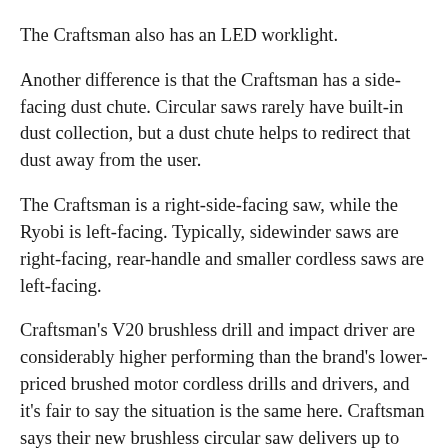The Craftsman also has an LED worklight.
Another difference is that the Craftsman has a side-facing dust chute. Circular saws rarely have built-in dust collection, but a dust chute helps to redirect that dust away from the user.
The Craftsman is a right-side-facing saw, while the Ryobi is left-facing. Typically, sidewinder saws are right-facing, rear-handle and smaller cordless saws are left-facing.
Craftsman's V20 brushless drill and impact driver are considerably higher performing than the brand's lower-priced brushed motor cordless drills and drivers, and it's fair to say the situation is the same here. Craftsman says their new brushless circular saw delivers up to 75% more power than their brushed motor saw, and that sounds about right.
The...